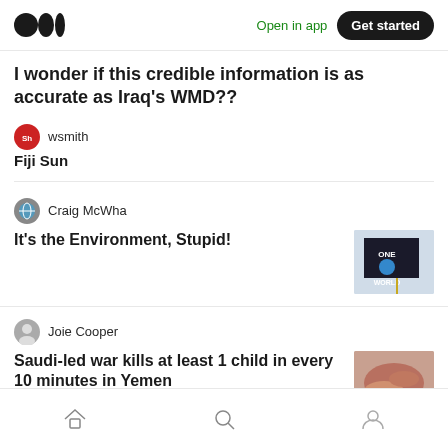Medium app header — Open in app | Get started
I wonder if this credible information is as accurate as Iraq's WMD??
wsmith · Fiji Sun
Craig McWha · It's the Environment, Stupid!
Joie Cooper · Saudi-led war kills at least 1 child in every 10 minutes in Yemen
Home | Search | Profile